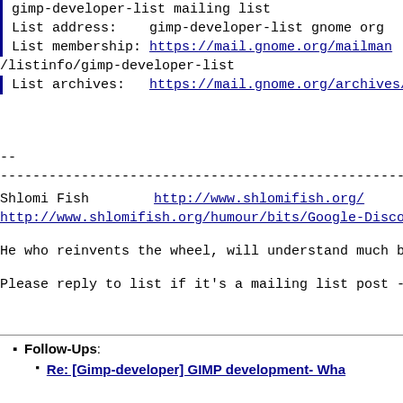gimp-developer-list mailing list
List address:    gimp-developer-list gnome org
List membership: https://mail.gnome.org/mailman
/listinfo/gimp-developer-list
List archives:   https://mail.gnome.org/archives/g
--
------------------------------------------------------------------------
Shlomi Fish        http://www.shlomifish.org/
http://www.shlomifish.org/humour/bits/Google-Discont
He who reinvents the wheel, will understand much bet
Please reply to list if it's a mailing list post - h
Follow-Ups:
Re: [Gimp-developer] GIMP development- Wha